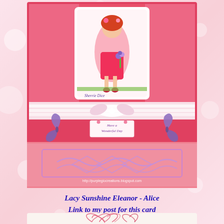[Figure (photo): A handmade greeting card (easel/step card) with pink and red floral patterned paper, featuring a little girl illustration (Lacy Sunshine Eleanor) in a pink dress holding flowers, purple butterfly embellishments on each side, a white lace bow, and a small tag reading 'Have a Wonderful Day'. The card is open/standing up showing its stepped layers.]
Lacy Sunshine Eleanor - Alice
Link to my post for this card
[Figure (photo): Partial bottom image showing what appears to be pink/red embroidery or stamped design on white lace fabric.]